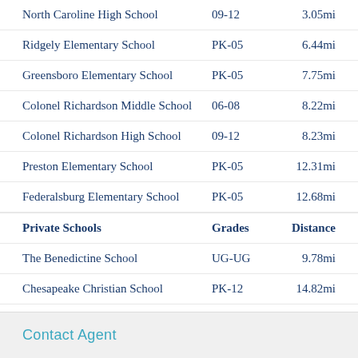North Caroline High School	09-12	3.05mi
Ridgely Elementary School	PK-05	6.44mi
Greensboro Elementary School	PK-05	7.75mi
Colonel Richardson Middle School	06-08	8.22mi
Colonel Richardson High School	09-12	8.23mi
Preston Elementary School	PK-05	12.31mi
Federalsburg Elementary School	PK-05	12.68mi
Private Schools	Grades	Distance
The Benedictine School	UG-UG	9.78mi
Chesapeake Christian School	PK-12	14.82mi
Contact Agent